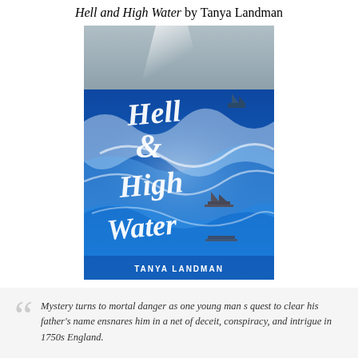Hell and High Water by Tanya Landman
[Figure (photo): Book cover of 'Hell & High Water' by Tanya Landman. A dramatic ocean scene with stormy waves and ships, with the title written in large white cursive script and the author's name at the bottom.]
Mystery turns to mortal danger as one young man s quest to clear his father's name ensnares him in a net of deceit, conspiracy, and intrigue in 1750s England.